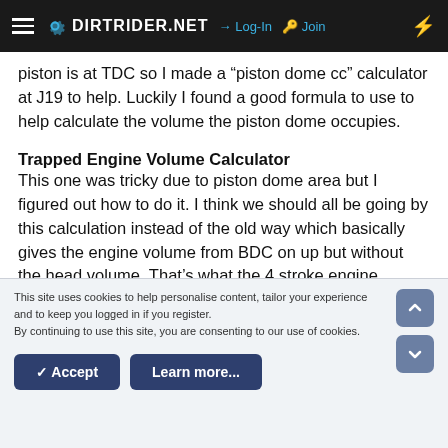DIRTRIDER.NET  Log-In  Join
piston is at TDC so I made a “piston dome cc” calculator at J19 to help. Luckily I found a good formula to use to help calculate the volume the piston dome occupies.
Trapped Engine Volume Calculator
This one was tricky due to piston dome area but I figured out how to do it. I think we should all be going by this calculation instead of the old way which basically gives the engine volume from BDC on up but without the head volume. That’s what the 4 stroke engine volume calculators do. Crazy, like 2
This site uses cookies to help personalise content, tailor your experience and to keep you logged in if you register.
By continuing to use this site, you are consenting to our use of cookies.